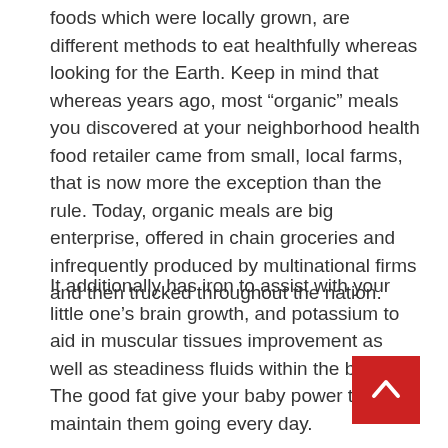foods which were locally grown, are different methods to eat healthfully whereas looking for the Earth. Keep in mind that whereas years ago, most “organic” meals you discovered at your neighborhood health food retailer came from small, local farms, that is now more the exception than the rule. Today, organic meals are big enterprise, offered in chain groceries and infrequently produced by multinational firms and then trucked throughout the nation.
It additionally has iron to assist with your little one’s brain growth, and potassium to aid in muscular tissues improvement as well as steadiness fluids within the body. The good fat give your baby power to maintain them going every day.
Once Upon a Farm are dedicated to manufacturing fresh organic merchandise. They use a chilly press cold to make sure that the organic food does not lose its nutrients, texture, and style which ensures your baby gets one of the best with every scandals and is not to be
[Figure (other): Red square scroll-to-top button with white upward chevron arrow, positioned in lower right area of page]